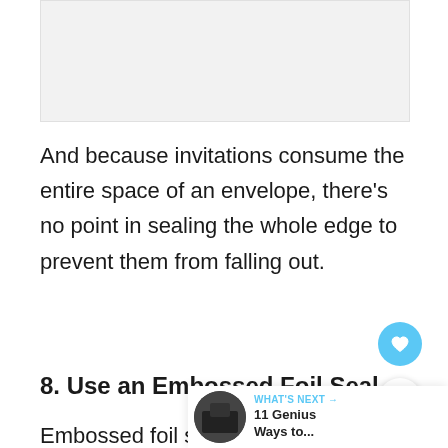[Figure (photo): Image placeholder at top of page]
And because invitations consume the entire space of an envelope, there’s no point in sealing the whole edge to prevent them from falling out.
8. Use an Embossed Foil Seal
Embossed foil seals work the sa
as sealing stickers, which means you can